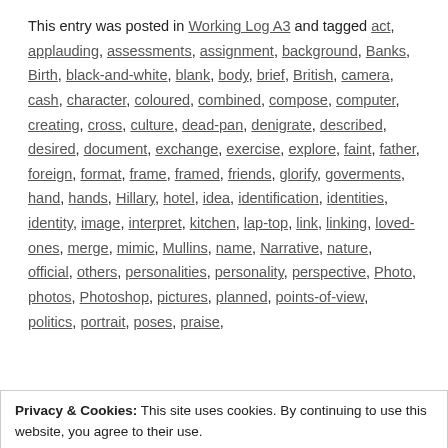This entry was posted in Working Log A3 and tagged act, applauding, assessments, assignment, background, Banks, Birth, black-and-white, blank, body, brief, British, camera, cash, character, coloured, combined, compose, computer, creating, cross, culture, dead-pan, denigrate, described, desired, document, exchange, exercise, explore, faint, father, foreign, format, frame, framed, friends, glorify, goverments, hand, hands, Hillary, hotel, idea, identification, identities, identity, image, interpret, kitchen, lap-top, link, linking, loved-ones, merge, mimic, Mullins, name, Narrative, nature, official, others, personalities, personality, perspective, Photo, photos, Photoshop, pictures, planned, points-of-view, politics, portrait, poses, praise,
Privacy & Cookies: This site uses cookies. By continuing to use this website, you agree to their use.
To find out more, including how to control cookies, see here: Cookie Policy
Close and accept